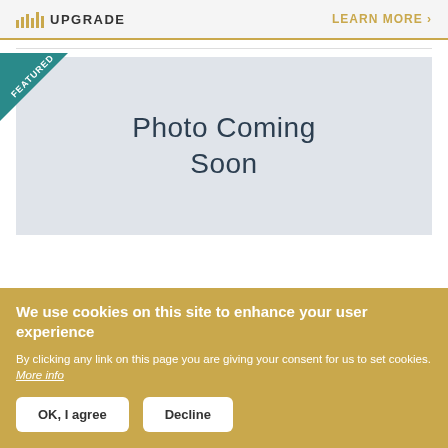UPGRADE | LEARN MORE >
[Figure (screenshot): Photo Coming Soon placeholder image with a teal 'FEATURED' diagonal ribbon badge in the top-left corner]
We use cookies on this site to enhance your user experience
By clicking any link on this page you are giving your consent for us to set cookies. More info
OK, I agree | Decline